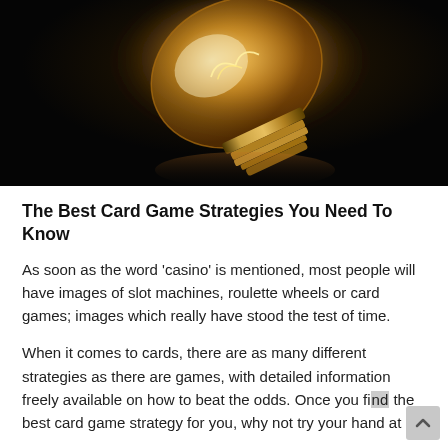[Figure (photo): Close-up photo of a glowing vintage Edison incandescent light bulb lying on a dark/black reflective surface, warm golden filament illuminated]
The Best Card Game Strategies You Need To Know
As soon as the word 'casino' is mentioned, most people will have images of slot machines, roulette wheels or card games; images which really have stood the test of time.
When it comes to cards, there are as many different strategies as there are games, with detailed information freely available on how to beat the odds. Once you find the best card game strategy for you, why not try your hand at